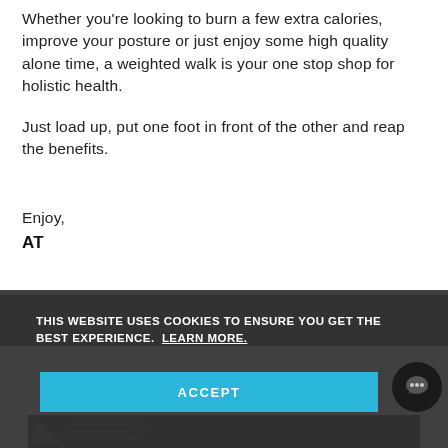Whether you’re looking to burn a few extra calories, improve your posture or just enjoy some high quality alone time, a weighted walk is your one stop shop for holistic health.
Just load up, put one foot in front of the other and reap the benefits.
Enjoy,
AT
THIS WEBSITE USES COOKIES TO ENSURE YOU GET THE BEST EXPERIENCE.  LEARN MORE.
ACCEPT